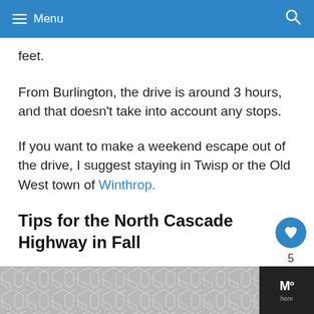≡ Menu  🔍
feet.
From Burlington, the drive is around 3 hours, and that doesn't take into account any stops.
If you want to make a weekend escape out of the drive, I suggest staying in Twisp or the Old West town of Winthrop.
Tips for the North Cascade Highway in Fall